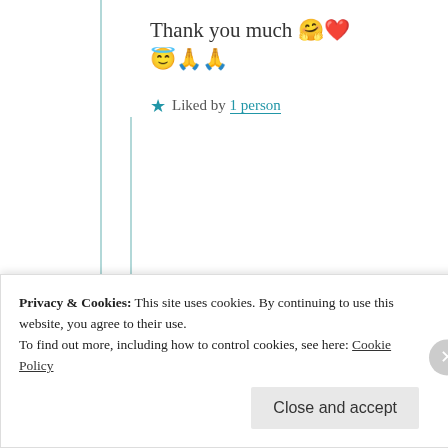Thank you much 🤗❤️ 😇🙏🙏
★ Liked by 1 person
[Figure (photo): Circular profile photo of Cindy Georgakas, a woman with light hair outdoors]
Cindy Georgakas
4th Sep 2021 at 8:36 pm
Privacy & Cookies: This site uses cookies. By continuing to use this website, you agree to their use. To find out more, including how to control cookies, see here: Cookie Policy